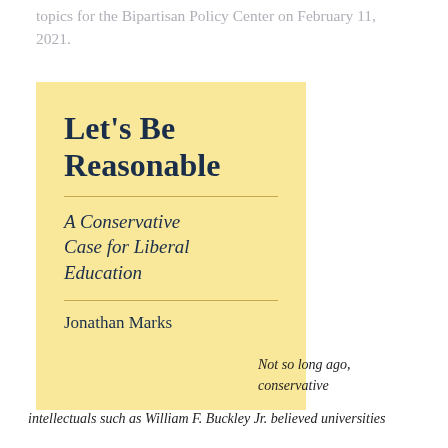topics for the Bipartisan Policy Center on February 11, 2021.
[Figure (illustration): Book cover for 'Let's Be Reasonable: A Conservative Case for Liberal Education' by Jonathan Marks. Yellow/cream background with bold dark navy title text, italic subtitle, horizontal dividers, and author name.]
Not so long ago, conservative intellectuals such as William F. Buckley Jr. believed universities